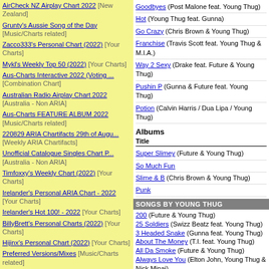AirCheck NZ Airplay Chart 2022 [New Zealand]
Grunty's Aussie Song of the Day [Music/Charts related]
Zacco333's Personal Chart (2022) [Your Charts]
Mykl's Weekly Top 50 (2022) [Your Charts]
Aus-Charts Interactive 2022 (Voting ...) [Combination Chart]
Australian Radio Airplay Chart 2022 [Australia - Non ARIA]
Aus-Charts FEATURE ALBUM 2022 [Music/Charts related]
220829 ARIA Chartifacts 29th of Augu... [Weekly ARIA Chartifacts]
Unofficial Catalogue Singles Chart P... [Australia - Non ARIA]
Timfoxxy's Weekly Chart (2022) [Your Charts]
Irelander's Personal ARIA Chart - 2022 [Your Charts]
Irelander's Hot 100! - 2022 [Your Charts]
BillyBrett's Personal Charts (2022) [Your Charts]
Hijinx's Personal Chart (2022) [Your Charts]
Preferred Versions/Mixes [Music/Charts related]
Chart Beat 2022 [New Zealand]
220822 ARIA Chartifacts 22nd of Augu... [Weekly ARIA Chartifacts]
In Memoriam, Pt. 2 [General Discussion]
The latest 50 threads
Goodbyes (Post Malone feat. Young Thug)
Hot (Young Thug feat. Gunna)
Go Crazy (Chris Brown & Young Thug)
Franchise (Travis Scott feat. Young Thug & M.I.A.)
Way 2 Sexy (Drake feat. Future & Young Thug)
Pushin P (Gunna & Future feat. Young Thug)
Potion (Calvin Harris / Dua Lipa / Young Thug)
Albums
Title
Super Slimey (Future & Young Thug)
So Much Fun
Slime & B (Chris Brown & Young Thug)
Punk
SONGS BY YOUNG THUG
200 (Future & Young Thug)
25 Soldiers (Swizz Beatz feat. Young Thug)
3 Headed Snake (Gunna feat. Young Thug)
About The Money (T.I. feat. Young Thug)
All Da Smoke (Future & Young Thug)
Always Love You (Elton John, Young Thug & Nicki Minaj)
Amazing (Young Thug feat. Jacquees)
Animal (Chris Brown & Young Thug)
Anybody (Young Thug feat. Nicki Minaj)
Audemar (Young Stoner Life / Young Thug feat. T...)
Bad Bad Bad (Young Thug feat. Lil Baby)
Bad Boy (Juice WRLD & Young Thug)
Best Friend
Better Believe (Belly, The Weeknd, Young Thug)